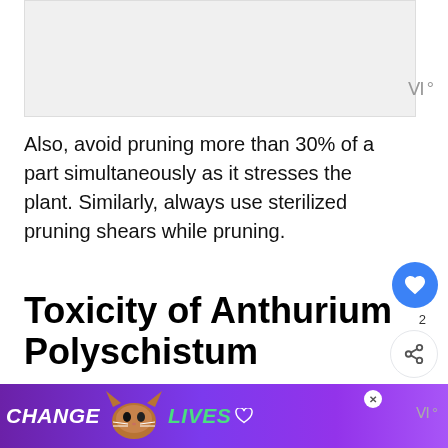[Figure (photo): Top image area, partially visible plant/article image]
Also, avoid pruning more than 30% of a part simultaneously as it stresses the plant. Similarly, always use sterilized pruning shears while pruning.
Toxicity of Anthurium Polyschistum
All varieties of Anthurium are toxic to both
[Figure (screenshot): Advertisement banner at bottom: CHANGE LIVES cat rescue ad in purple background]